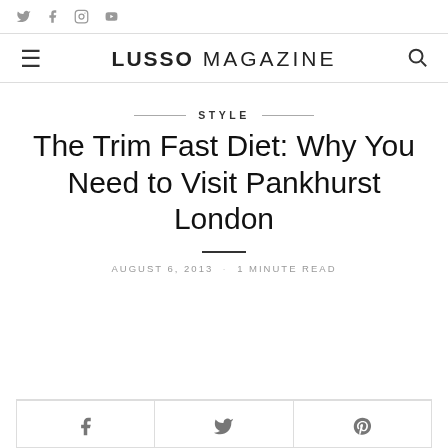Social icons: Twitter, Facebook, Instagram, YouTube
LUSSO MAGAZINE — navigation header with menu and search icons
STYLE
The Trim Fast Diet: Why You Need to Visit Pankhurst London
AUGUST 6, 2013 · 1 MINUTE READ
[Figure (other): Social share buttons bar with Facebook, Twitter, and Pinterest icons]